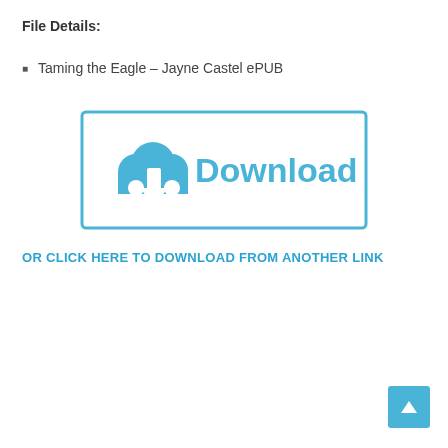File Details:
Taming the Eagle – Jayne Castel ePUB
[Figure (illustration): Download button with cloud and arrow icon inside a blue rectangular border, labeled 'Download']
OR CLICK HERE TO DOWNLOAD FROM ANOTHER LINK